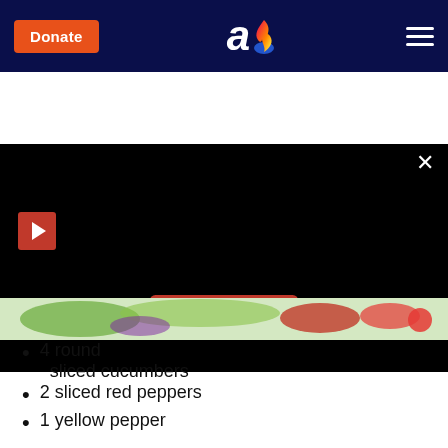Donate | [logo] | [menu]
[Figure (screenshot): Black video player area with red play button icon on left, READ MORE red button centered, and close X button top right]
[Figure (photo): Salad ingredients photo strip showing vegetables including red peppers, tomatoes, and greens]
4 round sliced cucumbers
2 sliced red peppers
1 yellow pepper
1 purple onion
2 cups of white, mung sprouts
Cherry tomatoes
¼ cup sunflower seeds
¼ cup pumpkin seeds